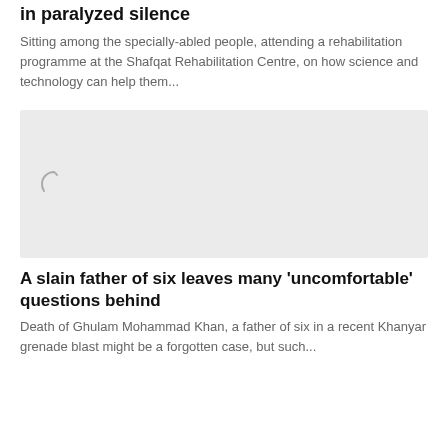in paralyzed silence
Sitting among the specially-abled people, attending a rehabilitation programme at the Shafqat Rehabilitation Centre, on how science and technology can help them...
[Figure (photo): Loading placeholder image with spinner icon on light grey background]
A slain father of six leaves many 'uncomfortable' questions behind
Death of Ghulam Mohammad Khan, a father of six in a recent Khanyar grenade blast might be a forgotten case, but such...